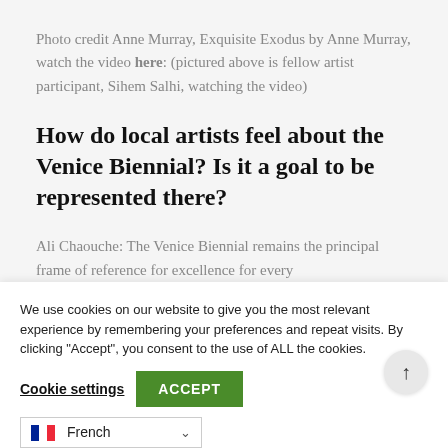Photo credit Anne Murray, Exquisite Exodus by Anne Murray, watch the video here: (pictured above is fellow artist participant, Sihem Salhi, watching the video)
How do local artists feel about the Venice Biennial? Is it a goal to be represented there?
Ali Chaouche: The Venice Biennial remains the principal frame of reference for excellence for every
We use cookies on our website to give you the most relevant experience by remembering your preferences and repeat visits. By clicking “Accept”, you consent to the use of ALL the cookies.
Cookie settings  ACCEPT